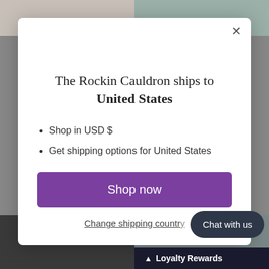[Figure (screenshot): Background showing product images of jewelry and stones]
The Rockin Cauldron ships to United States
Shop in USD $
Get shipping options for United States
Shop now
Change shipping country
Chat with us
Loyalty Rewards